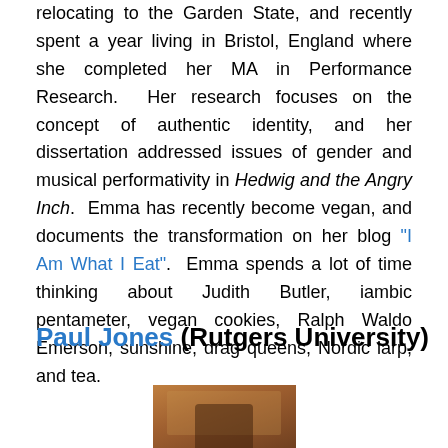relocating to the Garden State, and recently spent a year living in Bristol, England where she completed her MA in Performance Research. Her research focuses on the concept of authentic identity, and her dissertation addressed issues of gender and musical performativity in Hedwig and the Angry Inch. Emma has recently become vegan, and documents the transformation on her blog "I Am What I Eat". Emma spends a lot of time thinking about Judith Butler, iambic pentameter, vegan cookies, Ralph Waldo Emerson, sunshine, drag queens, Nordic larp, and tea.
Paul Jones (Rutgers University)
[Figure (photo): Portrait photo of Paul Jones, partially visible, warm brown tones]